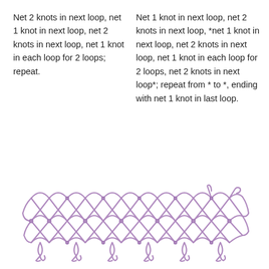Net 2 knots in next loop, net 1 knot in next loop, net 2 knots in next loop, net 1 knot in each loop for 2 loops; repeat.
Net 1 knot in next loop, net 2 knots in next loop, *net 1 knot in next loop, net 2 knots in next loop, net 1 knot in each loop for 2 loops, net 2 knots in next loop*; repeat from * to *, ending with net 1 knot in last loop.
[Figure (photo): A horizontal strip of purple/lavender knotted netting or tatting lacework, showing a diamond mesh pattern with decorative knotted loops along the bottom edge.]